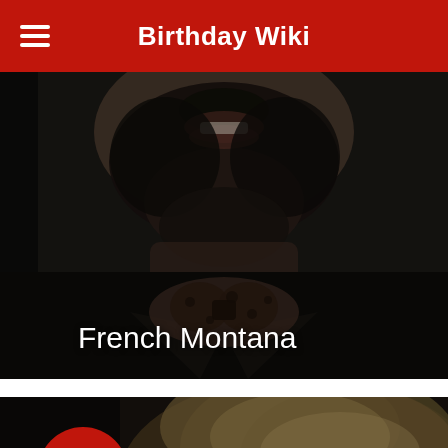Birthday Wiki
[Figure (photo): Close-up photo of French Montana showing his beard, mustache, bow-tie and dark jacket, photographed from chin downward]
French Montana
[Figure (photo): Partial photo of a person with blonde/highlighted hair, with a red circular date badge showing '9th NOV' and a red scroll-to-top button with arrow icon]